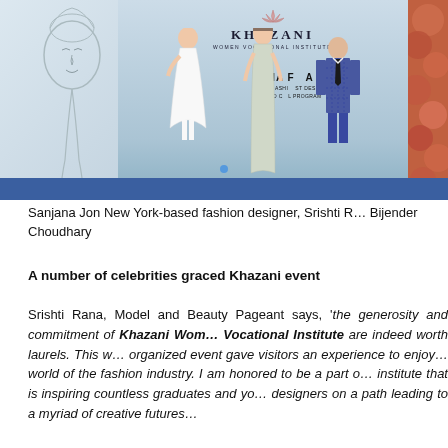[Figure (photo): Photo of three people standing on a fashion show stage at a Khazani Women Vocational Institute event (SHFA 2017). A woman in white dress on left, a woman in silver gown in center, and a man in checked suit on right. Background shows Khazani logo and event banner. Left side has a fashion illustration sketch, right side has a red floral pattern.]
Sanjana Jon New York-based fashion designer, Srishti Rana, Bijender Choudhary
A number of celebrities graced Khazani event
Srishti Rana, Model and Beauty Pageant says, 'the generosity and commitment of Khazani Women Vocational Institute are indeed worth laurels. This well organized event gave visitors an experience to enjoy the world of the fashion industry. I am honored to be a part of an institute that is inspiring countless graduates and young designers on a path leading to a myriad of creative futures.'